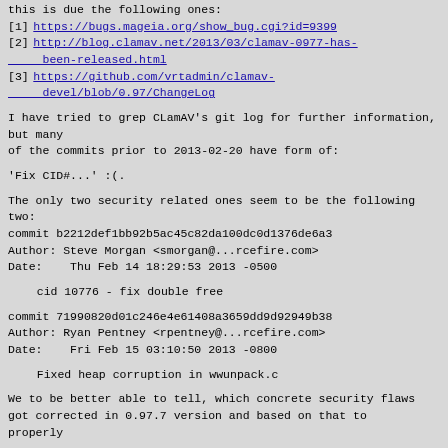this is due the following ones:
[1] https://bugs.mageia.org/show_bug.cgi?id=9399
[2] http://blog.clamav.net/2013/03/clamav-0977-has-been-released.html
[3] https://github.com/vrtadmin/clamav-devel/blob/0.97/ChangeLog
I have tried to grep CLamAV's git log for further information, but many of the commits prior to 2013-02-20 have form of:
'Fix CID#...' :(.

The only two security related ones seem to be the following two:
commit b2212def1bb92b5ac45c82da100dc0d1376de6a3
Author: Steve Morgan <smorgan@...rcefire.com>
Date:   Thu Feb 14 18:29:53 2013 -0500

    cid 10776 - fix double free

commit 71990820d01c246e4e61408a3659dd9d92949b38
Author: Ryan Pentney <rpentney@...rcefire.com>
Date:   Fri Feb 15 03:10:50 2013 -0800

    Fixed heap corruption in wwunpack.c

We to be better able to tell, which concrete security flaws
got corrected in 0.97.7 version and based on that to properly